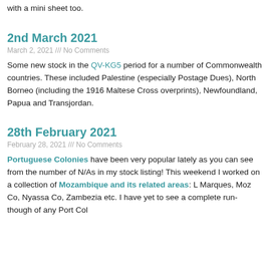with a mini sheet too.
2nd March 2021
March 2, 2021 /// No Comments
Some new stock in the QV-KG5 period for a number of Commonwealth countries. These included Palestine (especially Postage Dues), North Borneo (including the 1916 Maltese Cross overprints), Newfoundland, Papua and Transjordan.
28th February 2021
February 28, 2021 /// No Comments
Portuguese Colonies have been very popular lately as you can see from the number of N/As in my stock listing! This weekend I worked on a collection of Mozambique and its related areas: L Marques, Moz Co, Nyassa Co, Zambezia etc. I have yet to see a complete run-though of any Port Col